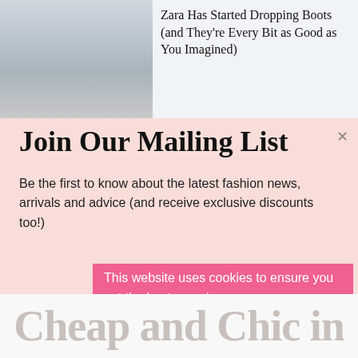[Figure (photo): Photo of legs/boots from a fashion article, gray tones]
Zara Has Started Dropping Boots (and They're Every Bit as Good as You Imagined)
Join Our Mailing List
Be the first to know about the latest fashion news, arrivals and advice (and receive exclusive discounts too!)
This website uses cookies to ensure you get the best experience on our website.Cookie Policy  Learn more
Got it
Cheap and Chic in